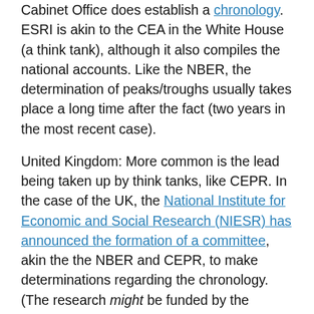Cabinet Office does establish a chronology. ESRI is akin to the CEA in the White House (a think tank), although it also compiles the national accounts. Like the NBER, the determination of peaks/troughs usually takes place a long time after the fact (two years in the most recent case).
United Kingdom: More common is the lead being taken up by think tanks, like CEPR. In the case of the UK, the National Institute for Economic and Social Research (NIESR) has announced the formation of a committee, akin the the NBER and CEPR, to make determinations regarding the chronology. (The research might be funded by the government, but the determinations are made at arms-length.)
Countries in General: The above list is by no means exhaustive. However, a cursory examination suggests that many analysts rely on the 2-quarter rule of thumb for conjunctural analysis, while appealing to other groups for historical chronologies. One way to interpret this is the...